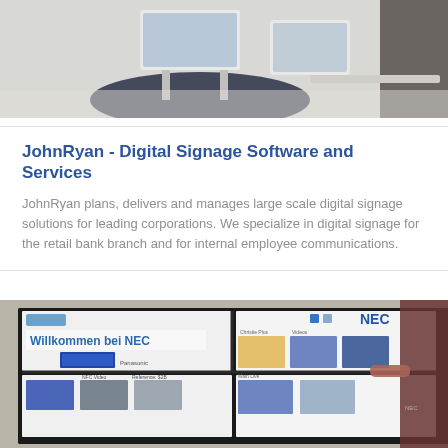[Figure (photo): Top photo showing a modern office or showroom environment with display equipment on a circular dark rug, white flooring, and a person partially visible in the background.]
JohnRyan - Digital Signage Software and Services
JohnRyan plans, delivers and manages large scale digital signage solutions for leading corporations. We specialize in digital signage for the retail bank branch and for internal employee communications.
[Figure (photo): Bottom photo showing a NEC digital signage video wall display with 'Willkommen bei NEC' text, multiple screen panels showing product images, and a man in a dark red shirt interacting with the screen.]